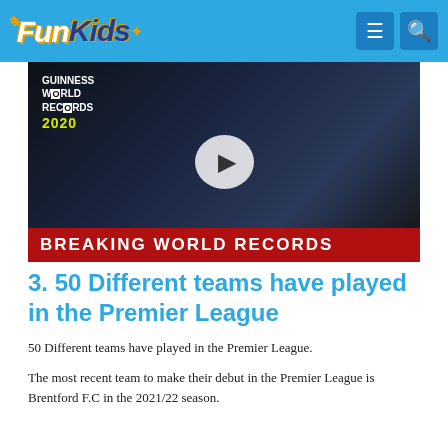Fun Kids
[Figure (screenshot): Video thumbnail showing a child with Guinness World Records 2020 book, Chelsea and Manchester United football badges, with 'BREAKING WORLD RECORDS' banner overlay and play button]
3. 50 Different teams have played in the Premier League
50 Different teams have played in the Premier League.
The most recent team to make their debut in the Premier League is Brentford F.C in the 2021/22 season.